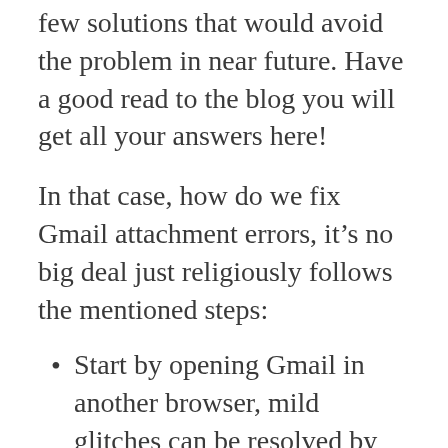few solutions that would avoid the problem in near future. Have a good read to the blog you will get all your answers here!
In that case, how do we fix Gmail attachment errors, it's no big deal just religiously follows the mentioned steps:
Start by opening Gmail in another browser, mild glitches can be resolved by that time only.
Try updating your browser, because Gmail works best with the newest applications. You may do so by: Hit on the Customize google chrome button in the main menu, further by selecting the Help button and the browser will